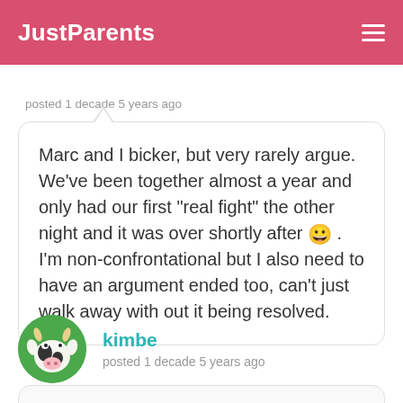JustParents
posted 1 decade 5 years ago
Marc and I bicker, but very rarely argue. We've been together almost a year and only had our first "real fight" the other night and it was over shortly after 😀 . I'm non-confrontational but I also need to have an argument ended too, can't just walk away with out it being resolved.
kimbe
posted 1 decade 5 years ago
i think men do not the hump when they have not had their